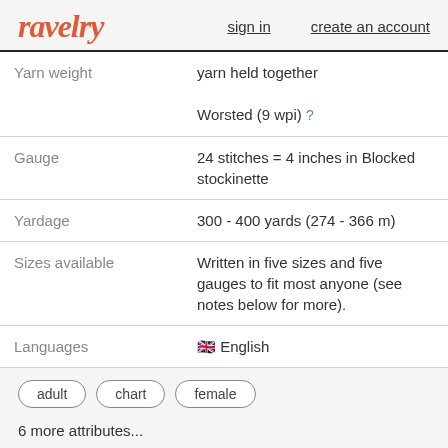ravelry | sign in | create an account
| Label | Value |
| --- | --- |
| Yarn weight | yarn held together
Worsted (9 wpi) ? |
| Gauge | 24 stitches = 4 inches in Blocked stockinette |
| Yardage | 300 - 400 yards (274 - 366 m) |
| Sizes available | Written in five sizes and five gauges to fit most anyone (see notes below for more). |
| Languages | 🇬🇧 English |
adult
chart
female
6 more attributes...
🔍 search patterns with these attributes